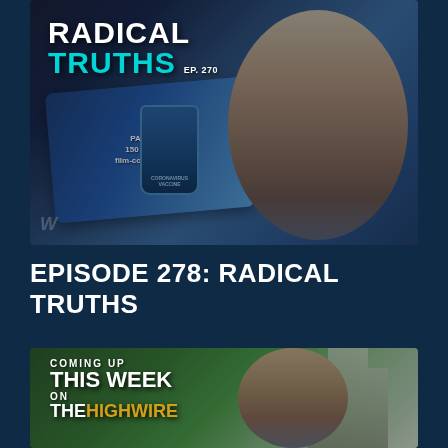[Figure (photo): Podcast thumbnail image showing 'RADICAL TRUTHS EP. 270' text overlay with pharmaceutical items (Paxlovid pill box, vaccine vials) on the left and a dark-haired man with goatee in a grey sweater on the right, dark blue background]
EPISODE 278: RADICAL TRUTHS
DETAILS
[Figure (photo): Video thumbnail showing 'COMING UP THIS WEEK ON THE HIGHWIRE' text with a grey-haired man outdoors in front of a building, green foliage background]